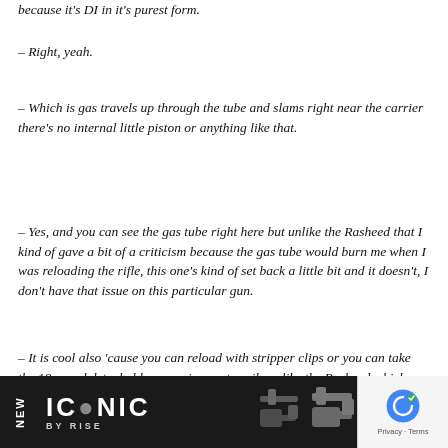because it's DI in it's purest form.
– Right, yeah.
– Which is gas travels up through the tube and slams right near the carrier there's no internal little piston or anything like that.
– Yes, and you can see the gas tube right here but unlike the Rasheed that I kind of gave a bit of a criticism because the gas tube would burn me when I was reloading the rifle, this one's kind of set back a little bit and it doesn't, I don't have that issue on this particular gun.
– It is cool also 'cause you can reload with stripper clips or you can take the 10 round detachable magazines out easily unlike the Rasheed which they're fixed as f… can…
[Figure (illustration): Dark banner at bottom showing 'NEW' vertically, 'ICONIC BY RISE' logo in white text on black background, and silhouettes of firearm accessories/triggers on the right side. A GDPR reCAPTCHA badge is overlaid on the bottom right.]